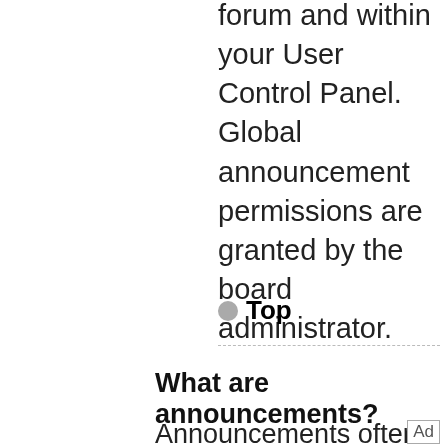forum and within your User Control Panel. Global announcement permissions are granted by the board administrator.
Top
What are announcements?
Announcements often contain important information for the forum you are currently reading and you should read them whenever possible.
[Figure (other): Advertisement banner with green OPEN button and text: Flush Access Door That Eliminates Visual Distraction.]